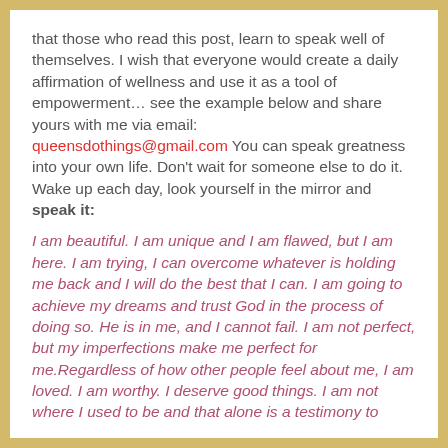that those who read this post, learn to speak well of themselves. I wish that everyone would create a daily affirmation of wellness and use it as a tool of empowerment… see the example below and share yours with me via email: queensdothings@gmail.com You can speak greatness into your own life. Don't wait for someone else to do it. Wake up each day, look yourself in the mirror and speak it:
I am beautiful. I am unique and I am flawed, but I am here. I am trying, I can overcome whatever is holding me back and I will do the best that I can. I am going to achieve my dreams and trust God in the process of doing so. He is in me, and I cannot fail. I am not perfect, but my imperfections make me perfect for me.Regardless of how other people feel about me, I am loved. I am worthy. I deserve good things. I am not where I used to be and that alone is a testimony to